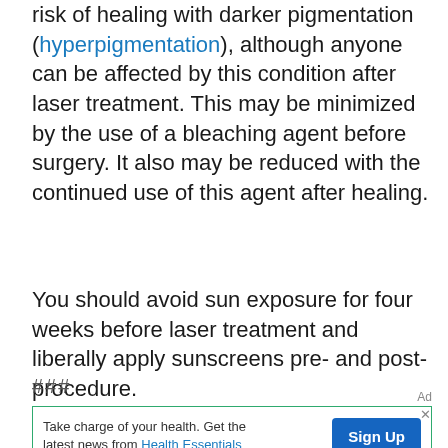risk of healing with darker pigmentation (hyperpigmentation), although anyone can be affected by this condition after laser treatment. This may be minimized by the use of a bleaching agent before surgery. It also may be reduced with the continued use of this agent after healing.
You should avoid sun exposure for four weeks before laser treatment and liberally apply sunscreens pre- and post-procedure.
###
[Figure (other): Advertisement banner: 'Take charge of your health. Get the latest news from Health Essentials' with a blue Sign Up button]